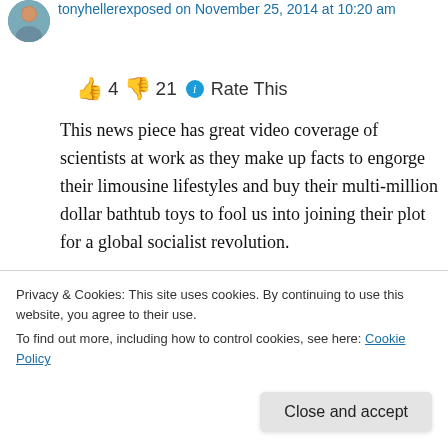tonyhellerexposed on November 25, 2014 at 10:20 am
👍 4 👎 21 ℹ Rate This
This news piece has great video coverage of scientists at work as they make up facts to engorge their limousine lifestyles and buy their multi-million dollar bathtub toys to fool us into joining their plot for a global socialist revolution.
I've got to hand it to these guys, they are absolute geniuses! I wish I were intelligent
Privacy & Cookies: This site uses cookies. By continuing to use this website, you agree to their use.
To find out more, including how to control cookies, see here: Cookie Policy
Close and accept